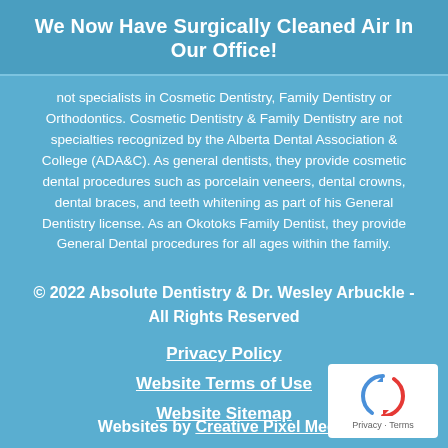We Now Have Surgically Cleaned Air In Our Office!
not specialists in Cosmetic Dentistry, Family Dentistry or Orthodontics. Cosmetic Dentistry & Family Dentistry are not specialties recognized by the Alberta Dental Association & College (ADA&C). As general dentists, they provide cosmetic dental procedures such as porcelain veneers, dental crowns, dental braces, and teeth whitening as part of his General Dentistry license. As an Okotoks Family Dentist, they provide General Dental procedures for all ages within the family.
© 2022 Absolute Dentistry & Dr. Wesley Arbuckle - All Rights Reserved
Privacy Policy
Website Terms of Use
Website Sitemap
Websites by Creative Pixel Media
[Figure (logo): reCAPTCHA badge with Privacy and Terms links]